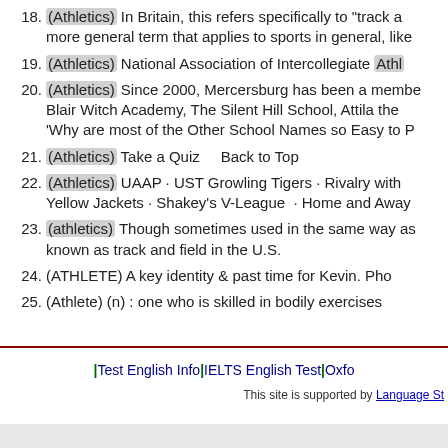18. (Athletics) In Britain, this refers specifically to "track a more general term that applies to sports in general, like
19. (Athletics) National Association of Intercollegiate Athle
20. (Athletics) Since 2000, Mercersburg has been a membe Blair Witch Academy, The Silent Hill School, Attila the 'Why are most of the Other School Names so Easy to P
21. (Athletics) Take a Quiz    Back to Top
22. (Athletics) UAAP · UST Growling Tigers · Rivalry with Yellow Jackets · Shakey's V-League  · Home and Away
23. (athletics) Though sometimes used in the same way as known as track and field in the U.S.
24. (ATHLETE) A key identity & past time for Kevin. Pho
25. (Athlete) (n) : one who is skilled in bodily exercises
|Test English Info|IELTS English Test|Oxfo This site is supported by Language St